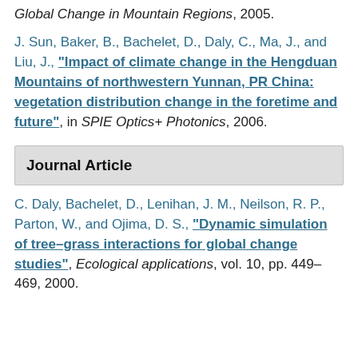Global Change in Mountain Regions, 2005.
J. Sun, Baker, B., Bachelet, D., Daly, C., Ma, J., and Liu, J., "Impact of climate change in the Hengduan Mountains of northwestern Yunnan, PR China: vegetation distribution change in the foretime and future", in SPIE Optics+ Photonics, 2006.
Journal Article
C. Daly, Bachelet, D., Lenihan, J. M., Neilson, R. P., Parton, W., and Ojima, D. S., "Dynamic simulation of tree–grass interactions for global change studies", Ecological applications, vol. 10, pp. 449–469, 2000.